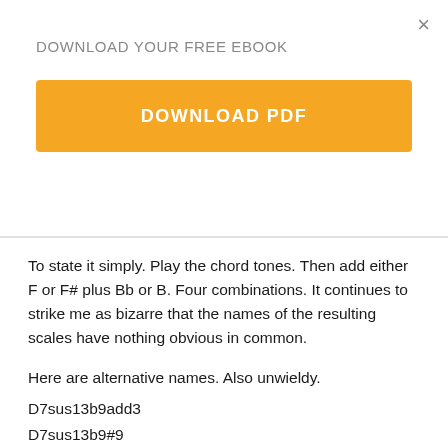× DOWNLOAD YOUR FREE EBOOK
[Figure (other): Orange download button with text DOWNLOAD PDF]
To state it simply. Play the chord tones. Then add either F or F# plus Bb or B. Four combinations. It continues to strike me as bizarre that the names of the resulting scales have nothing obvious in common.
Here are alternative names. Also unwieldy.
D7sus13b9add3
D7sus13b9#9
D7susb9b13add3
D7susb9#9b13.